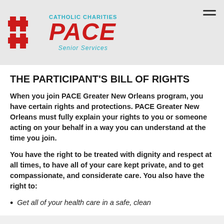[Figure (logo): Catholic Charities PACE Senior Services logo with red cross icon and teal text]
THE PARTICIPANT'S BILL OF RIGHTS
When you join PACE Greater New Orleans program, you have certain rights and protections. PACE Greater New Orleans must fully explain your rights to you or someone acting on your behalf in a way you can understand at the time you join.
You have the right to be treated with dignity and respect at all times, to have all of your care kept private, and to get compassionate, and considerate care. You also have the right to:
Get all of your health care in a safe, clean